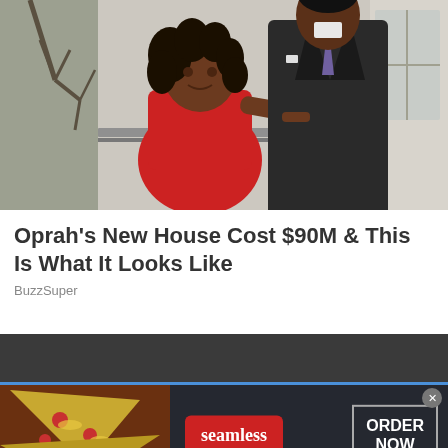[Figure (photo): Photo of two people posing together — a woman in a red dress with curly hair and a man in a dark suit with a tie, standing in front of a railing with trees in background]
Oprah's New House Cost $90M & This Is What It Looks Like
BuzzSuper
[Figure (screenshot): Seamless food delivery advertisement banner showing pizza on left, Seamless red logo badge in center, and ORDER NOW button on right with a close (x) button]